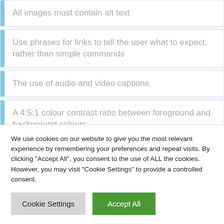All images must contain alt text
Use phrases for links to tell the user what to expect, rather than simple commands
The use of audio and video captions
A 4:5:1 colour contrast ratio between foreground and background colours
We use cookies on our website to give you the most relevant experience by remembering your preferences and repeat visits. By clicking "Accept All", you consent to the use of ALL the cookies. However, you may visit "Cookie Settings" to provide a controlled consent.
Cookie Settings
Accept All